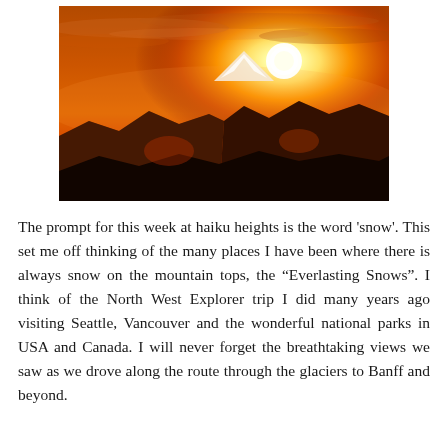[Figure (photo): A dramatic mountain sunset photograph showing silhouetted mountain peaks against an orange and red sky with a bright glowing sun near the horizon. Snow is visible on the mountain tops.]
The prompt for this week at haiku heights is the word 'snow'. This set me off thinking of the many places I have been where there is always snow on the mountain tops, the "Everlasting Snows". I think of the North West Explorer trip I did many years ago visiting Seattle, Vancouver and the wonderful national parks in USA and Canada. I will never forget the breathtaking views we saw as we drove along the route through the glaciers to Banff and beyond.